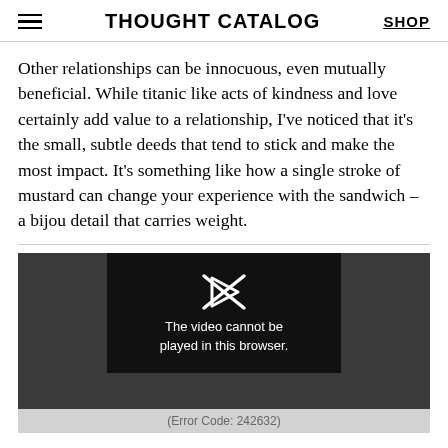THOUGHT CATALOG | SHOP
Other relationships can be innocuous, even mutually beneficial. While titanic like acts of kindness and love certainly add value to a relationship, I've noticed that it's the small, subtle deeds that tend to stick and make the most impact. It's something like how a single stroke of mustard can change your experience with the sandwich – a bijou detail that carries weight.
[Figure (screenshot): A video player showing an error message: 'The video cannot be played in this browser.' with Error Code: 242632. A crossed-out play button arrow icon appears above the text. The player has a dark grey outer area and a black inner panel.]